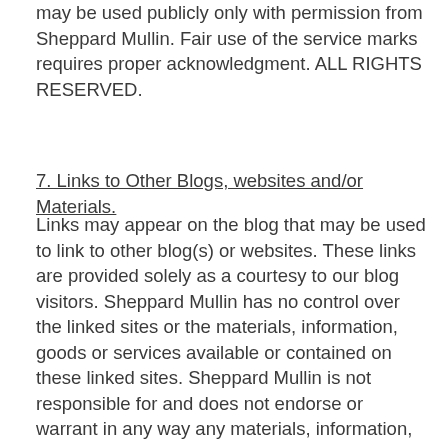may be used publicly only with permission from Sheppard Mullin. Fair use of the service marks requires proper acknowledgment. ALL RIGHTS RESERVED.
7. Links to Other Blogs, websites and/or Materials.
Links may appear on the blog that may be used to link to other blog(s) or websites. These links are provided solely as a courtesy to our blog visitors. Sheppard Mullin has no control over the linked sites or the materials, information, goods or services available or contained on these linked sites. Sheppard Mullin is not responsible for and does not endorse or warrant in any way any materials, information, goods or services available through such linked sites or any privacy or other practices of